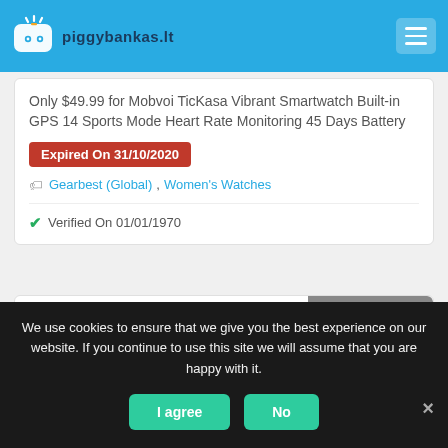piggybankas.lt
Only $49.99 for Mobvoi TicKasa Vibrant Smartwatch Built-in GPS 14 Sports Mode Heart Rate Monitoring 45 Days Battery
Expired On 31/10/2020
Gearbest (Global), Women's Watches
Verified On 01/01/1970
[Figure (logo): Gearbest (Global) badge with yellow shopping cart icon]
We use cookies to ensure that we give you the best experience on our website. If you continue to use this site we will assume that you are happy with it.